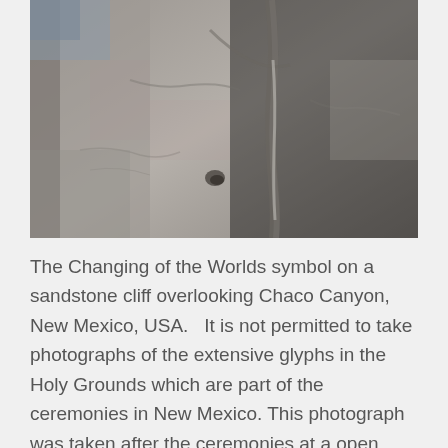[Figure (photo): A close-up photograph of a sandstone cliff face showing the Changing of the Worlds symbol, with rock textures, cracks, and faint markings visible on the grey-brown stone surface.]
The Changing of the Worlds symbol on a sandstone cliff overlooking Chaco Canyon, New Mexico, USA.   It is not permitted to take photographs of the extensive glyphs in the Holy Grounds which are part of the ceremonies in New Mexico. This photograph was taken after the ceremonies at a open tourist area in Chaco